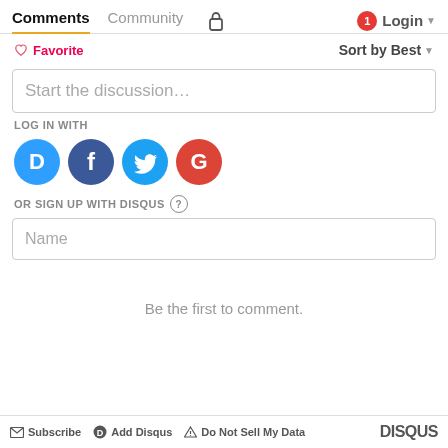Comments  Community  Login
♡ Favorite   Sort by Best
Start the discussion…
LOG IN WITH
[Figure (logo): Social login icons: Disqus (blue circle with D), Facebook (dark blue circle with f), Twitter (light blue circle with bird), Google (red circle with G)]
OR SIGN UP WITH DISQUS ?
Name
Be the first to comment.
✉ Subscribe   ⓓ Add Disqus   ▲ Do Not Sell My Data   DISQUS